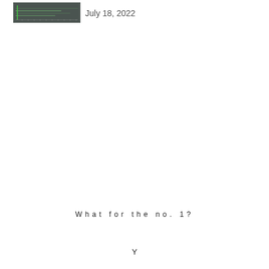[Figure (screenshot): Small thumbnail screenshot of a dark-themed audio or code editor interface with green waveform or text lines on a gray background]
July 18, 2022
What for the no. 1?
Y